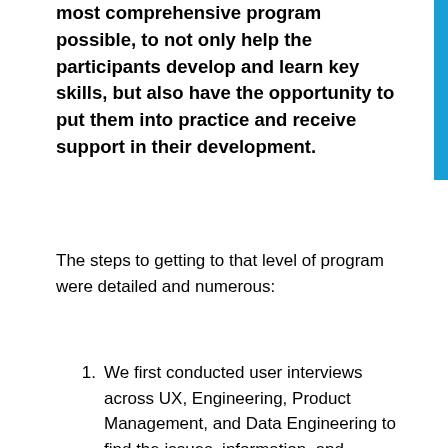most comprehensive program possible, to not only help the participants develop and learn key skills, but also have the opportunity to put them into practice and receive support in their development.
The steps to getting to that level of program were detailed and numerous:
We first conducted user interviews across UX, Engineering, Product Management, and Data Engineering to find the issues, information, and